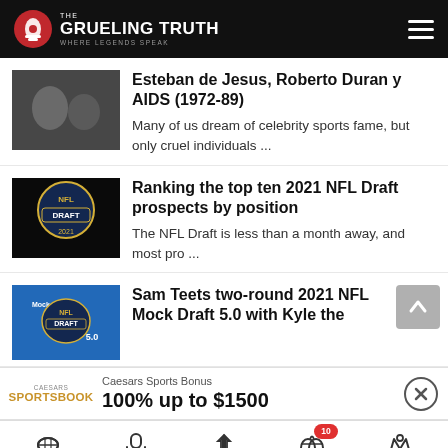The Grueling Truth — Where Legends Speak
Esteban de Jesus, Roberto Duran y AIDS (1972-89)
Many of us dream of celebrity sports fame, but only cruel individuals ...
Ranking the top ten 2021 NFL Draft prospects by position
The NFL Draft is less than a month away, and most pro ...
Sam Teets two-round 2021 NFL Mock Draft 5.0 with Kyle the
Caesars Sports Bonus
100% up to $1500
Football | Podcasts | Betting | Bonus 10 | Casino